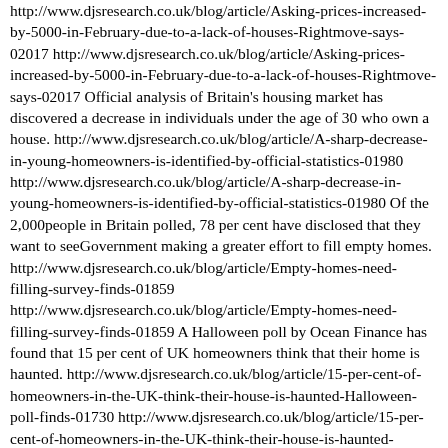http://www.djsresearch.co.uk/blog/article/Asking-prices-increased-by-5000-in-February-due-to-a-lack-of-houses-Rightmove-says-02017 http://www.djsresearch.co.uk/blog/article/Asking-prices-increased-by-5000-in-February-due-to-a-lack-of-houses-Rightmove-says-02017 Official analysis of Britain's housing market has discovered a decrease in individuals under the age of 30 who own a house. http://www.djsresearch.co.uk/blog/article/A-sharp-decrease-in-young-homeowners-is-identified-by-official-statistics-01980 http://www.djsresearch.co.uk/blog/article/A-sharp-decrease-in-young-homeowners-is-identified-by-official-statistics-01980 Of the 2,000people in Britain polled, 78 per cent have disclosed that they want to seeGovernment making a greater effort to fill empty homes. http://www.djsresearch.co.uk/blog/article/Empty-homes-need-filling-survey-finds-01859 http://www.djsresearch.co.uk/blog/article/Empty-homes-need-filling-survey-finds-01859 A Halloween poll by Ocean Finance has found that 15 per cent of UK homeowners think that their home is haunted. http://www.djsresearch.co.uk/blog/article/15-per-cent-of-homeowners-in-the-UK-think-their-house-is-haunted-Halloween-poll-finds-01730 http://www.djsresearch.co.uk/blog/article/15-per-cent-of-homeowners-in-the-UK-think-their-house-is-haunted-Halloween-poll-finds-01730 More than three in 10 tenants are dissatisfied with their landlord, according to the Housing Partners' 2014 Big Tenant Survey. Of the 61,000 tenants questioned, around one-sixth (17.5%) said they were 'dissatisfied' with their landlord.